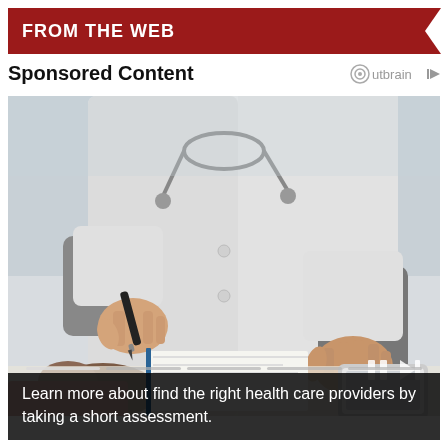FROM THE WEB
Sponsored Content
[Figure (photo): A doctor in a white coat with a stethoscope holding a pen, gesturing across a desk to a patient. Medical consultation scene.]
Learn more about find the right health care providers by taking a short assessment.